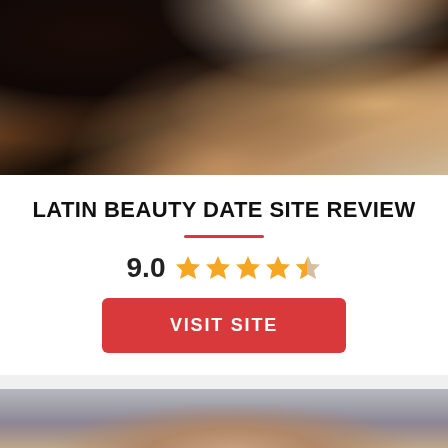[Figure (photo): Close-up photo of a woman's hand with a ring touching dark hair, wearing a white top, shoulder visible]
LATIN BEAUTY DATE SITE REVIEW
9.0  ★★★★½
VISIT SITE
[Figure (photo): Close-up photo of a young Asian woman's face with dark hair]
Asia Beauty Date ★★☆☆☆  Visit Site